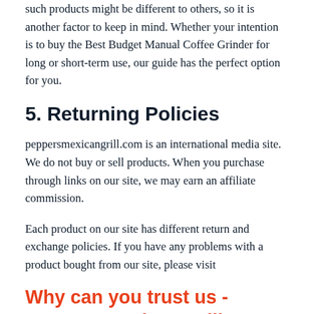such products might be different to others, so it is another factor to keep in mind. Whether your intention is to buy the Best Budget Manual Coffee Grinder for long or short-term use, our guide has the perfect option for you.
5. Returning Policies
peppersmexicangrill.com is an international media site. We do not buy or sell products. When you purchase through links on our site, we may earn an affiliate commission.
Each product on our site has different return and exchange policies. If you have any problems with a product bought from our site, please visit
Why can you trust us - Peppers Mexican Grill?